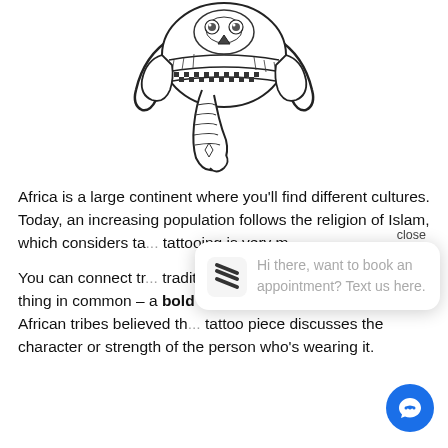[Figure (illustration): Black and white ornate mandala-style elephant head with decorative patterns, trunk curled downward, facing front, with tusks]
Africa is a large continent where you'll find different cultures. Today, an increasing population follows the religion of Islam, which considers ta... tattooing is very m...
You can connect tr... traditions in Africa. Most have one thing in common – a bold design and hidden meaning. African tribes believed th... tattoo piece discusses the character or strength of the person who's wearing it.
close
Hi there, want to book an appointment? Text us here.